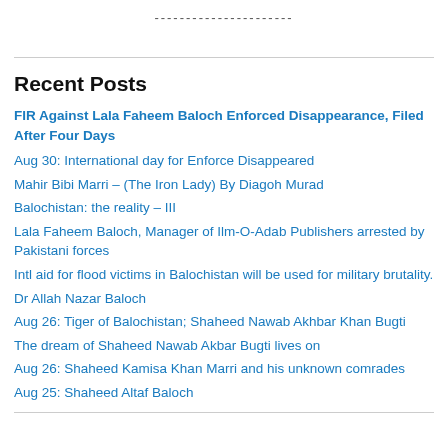----------------------
Recent Posts
FIR Against Lala Faheem Baloch Enforced Disappearance, Filed After Four Days
Aug 30: International day for Enforce Disappeared
Mahir Bibi Marri – (The Iron Lady) By Diagoh Murad
Balochistan: the reality – III
Lala Faheem Baloch, Manager of Ilm-O-Adab Publishers arrested by Pakistani forces
Intl aid for flood victims in Balochistan will be used for military brutality.
Dr Allah Nazar Baloch
Aug 26: Tiger of Balochistan; Shaheed Nawab Akhbar Khan Bugti
The dream of Shaheed Nawab Akbar Bugti lives on
Aug 26: Shaheed Kamisa Khan Marri and his unknown comrades
Aug 25: Shaheed Altaf Baloch